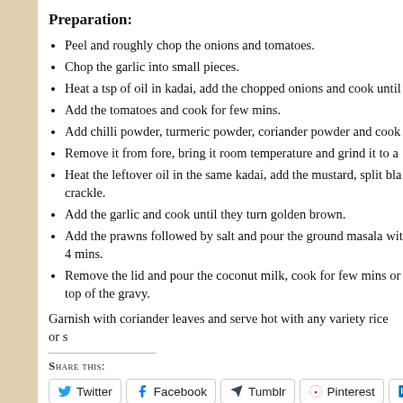Preparation:
Peel and roughly chop the onions and tomatoes.
Chop the garlic into small pieces.
Heat a tsp of oil in kadai, add the chopped onions and cook until
Add the tomatoes and cook for few mins.
Add chilli powder, turmeric powder, coriander powder and cook
Remove it from fore, bring it room temperature and grind it to a
Heat the leftover oil in the same kadai, add the mustard, split bla crackle.
Add the garlic and cook until they turn golden brown.
Add the prawns followed by salt and pour the ground masala wit 4 mins.
Remove the lid and pour the coconut milk, cook for few mins or top of the gravy.
Garnish with coriander leaves and serve hot with any variety rice or s
Share this:
Twitter | Facebook | Tumblr | Pinterest | LinkedIn | Pocket | Reddit | Email | Print